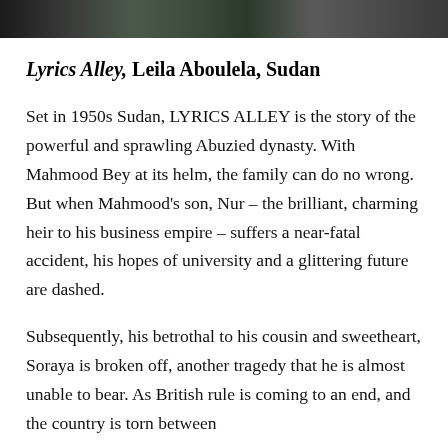[Figure (photo): Dark photograph strip at the top of the page, partially visible, showing a dark scene.]
Lyrics Alley, Leila Aboulela, Sudan
Set in 1950s Sudan, LYRICS ALLEY is the story of the powerful and sprawling Abuzied dynasty. With Mahmood Bey at its helm, the family can do no wrong. But when Mahmood's son, Nur – the brilliant, charming heir to his business empire – suffers a near-fatal accident, his hopes of university and a glittering future are dashed.
Subsequently, his betrothal to his cousin and sweetheart, Soraya is broken off, another tragedy that he is almost unable to bear. As British rule is coming to an end, and the country is torn between